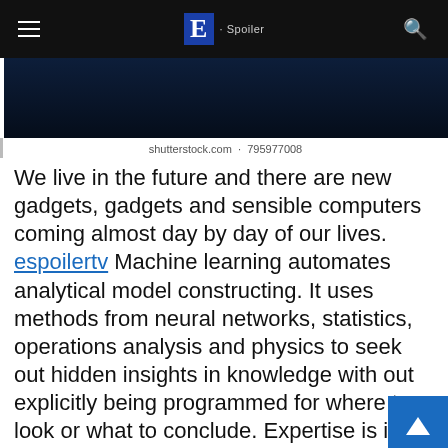E · Spoiler
[Figure (photo): Dark background image, partially visible, with a white vertical bar on the left side. Appears to be a tech or digital themed image.]
shutterstock.com · 795977008
We live in the future and there are new gadgets, gadgets and sensible computers coming almost day by day of our lives. espoilertv Machine learning automates analytical model constructing. It uses methods from neural networks, statistics, operations analysis and physics to seek out hidden insights in knowledge with out explicitly being programmed for where to look or what to conclude. Expertise is in the society. The society is into technology. The society contributes the human and materials sources vital for technology to bloss There isn't any denying the plain incontrovert fact that expertise has indeed, blossomed. The